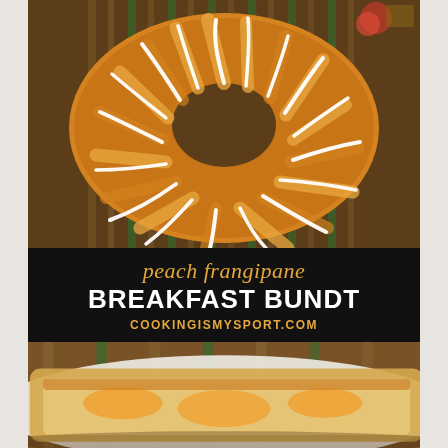[Figure (photo): Top-down view of a peach frangipane breakfast bundt cake with white glaze drizzled over it, sitting on a bamboo mat on a wooden surface]
peach frangipane BREAKFAST BUNDT cookingismysport.com
[Figure (photo): Close-up side view of a slice of the peach frangipane breakfast bundt cake showing the interior with peach filling]